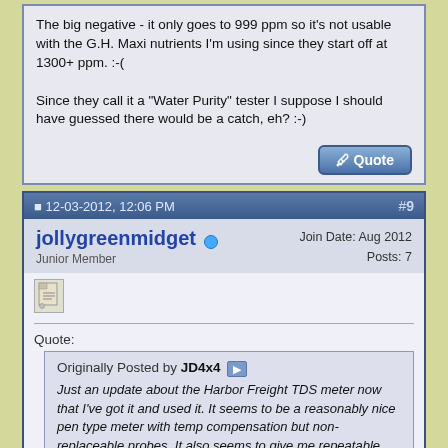The big negative - it only goes to 999 ppm so it's not usable with the G.H. Maxi nutrients I'm using since they start off at 1300+ ppm. :-(

Since they call it a "Water Purity" tester I suppose I should have guessed there would be a catch, eh? :-)
12-03-2012, 12:06 PM   #9
jollygreenmidget  Junior Member   Join Date: Aug 2012  Posts: 7
Quote:
Originally Posted by JD4x4
Just an update about the Harbor Freight TDS meter now that I've got it and used it. It seems to be a reasonably nice pen type meter with temp compensation but non-replaceable probes. It also seems to give me repeatable readings but I've only used it a few times in different tap/distilled/spring waters.

The big negative - it only goes to 999 ppm so it's not usable with the G.H. Maxi nutrients I'm using since they start off at 1300+ ppm.